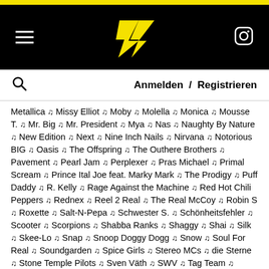Header bar with yellow strip, black navigation bar with hamburger menu, logo, Instagram icon, and search/login navigation
Metallica ♫ Missy Elliot ♫ Moby ♫ Molella ♫ Monica ♫ Mousse T. ♫ Mr. Big ♫ Mr. President ♫ Mya ♫ Nas ♫ Naughty By Nature ♫ New Edition ♫ Next ♫ Nine Inch Nails ♫ Nirvana ♫ Notorious BIG ♫ Oasis ♫ The Offspring ♫ The Outhere Brothers ♫ Pavement ♫ Pearl Jam ♫ Perplexer ♫ Pras Michael ♫ Primal Scream ♫ Prince Ital Joe feat. Marky Mark ♫ The Prodigy ♫ Puff Daddy ♫ R. Kelly ♫ Rage Against the Machine ♫ Red Hot Chili Peppers ♫ Rednex ♫ Reel 2 Real ♫ The Real McCoy ♫ Robin S ♫ Roxette ♫ Salt-N-Pepa ♫ Schwester S. ♫ Schönheitsfehler ♫ Scooter ♫ Scorpions ♫ Shabba Ranks ♫ Shaggy ♫ Shai ♫ Silk ♫ Skee-Lo ♫ Snap ♫ Snoop Doggy Dogg ♫ Snow ♫ Soul For Real ♫ Soundgarden ♫ Spice Girls ♫ Stereo MCs ♫ die Sterne ♫ Stone Temple Pilots ♫ Sven Väth ♫ SWV ♫ Tag Team ♫ Technohead ♫ Technotronic ♫ Texta ♫ Tic Tac Toe ♫ TLC ♫ Tocotronic ♫ Todd Terry ♫ Type O Negative ♫ U96 ♫ Ugly Kid Joe ♫ Usher ♫ Urban Cookie